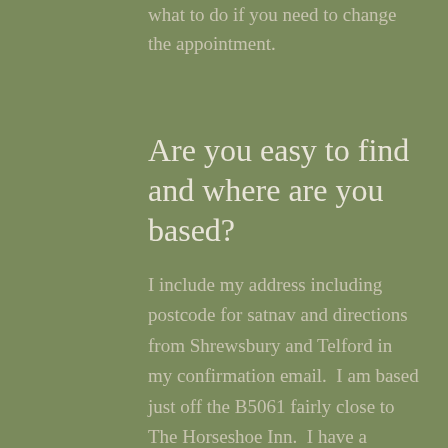what to do if you need to change the appointment.
Are you easy to find and where are you based?
I include my address including postcode for satnav and directions from Shrewsbury and Telford in my confirmation email.  I am based just off the B5061 fairly close to The Horseshoe Inn.  I have a private counselling room in a discrete and tranquil countryside setting.  I am within easy reach of Telford,